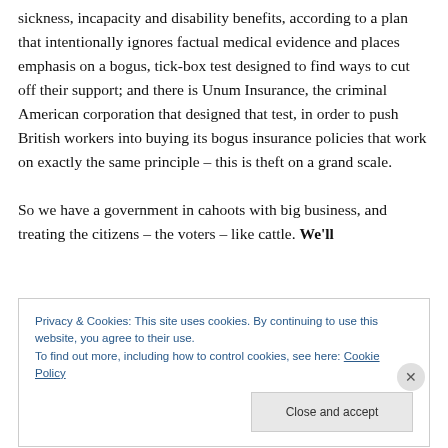sickness, incapacity and disability benefits, according to a plan that intentionally ignores factual medical evidence and places emphasis on a bogus, tick-box test designed to find ways to cut off their support; and there is Unum Insurance, the criminal American corporation that designed that test, in order to push British workers into buying its bogus insurance policies that work on exactly the same principle – this is theft on a grand scale.

So we have a government in cahoots with big business, and treating the citizens – the voters – like cattle. We'll
Privacy & Cookies: This site uses cookies. By continuing to use this website, you agree to their use.
To find out more, including how to control cookies, see here: Cookie Policy